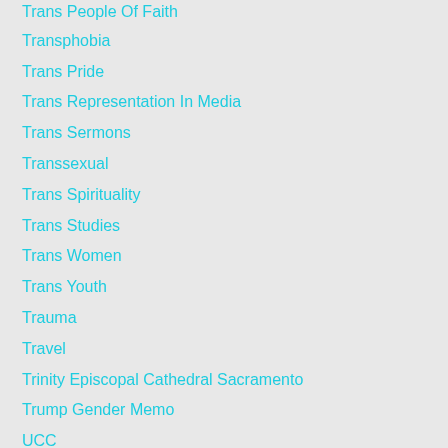Trans People Of Faith
Transphobia
Trans Pride
Trans Representation In Media
Trans Sermons
Transsexual
Trans Spirituality
Trans Studies
Trans Women
Trans Youth
Trauma
Travel
Trinity Episcopal Cathedral Sacramento
Trump Gender Memo
UCC
Uganda
UMC General Conference
United Kingdom
United Methodist